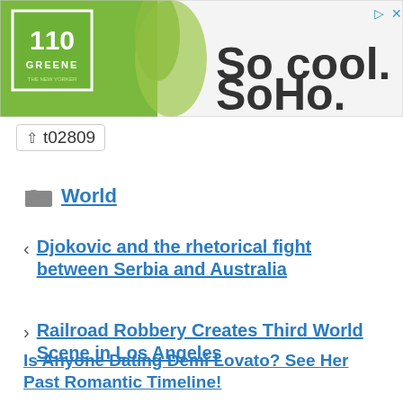[Figure (illustration): Advertisement banner for 110 Greene with green logo on left and text 'So cool. SoHo.' on right]
t02809
World
Djokovic and the rhetorical fight between Serbia and Australia
Railroad Robbery Creates Third World Scene in Los Angeles
Is Anyone Dating Demi Lovato? See Her Past Romantic Timeline!